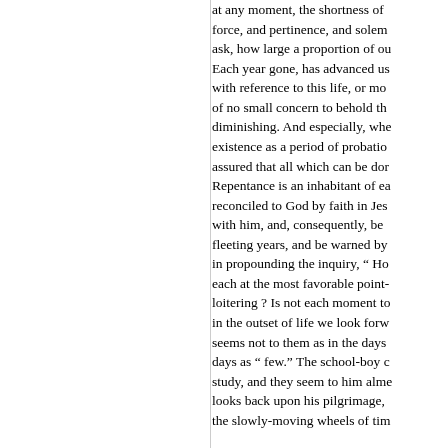at any moment, the shortness of force, and pertinence, and solem ask, how large a proportion of ou Each year gone, has advanced us with reference to this life, or mo of no small concern to behold th diminishing. And especially, whe existence as a period of probatio assured that all which can be dor Repentance is an inhabitant of ea reconciled to God by faith in Jes with him, and, consequently, be fleeting years, and be warned by in propounding the inquiry, " Ho each at the most favorable point- loitering ? Is not each moment to in the outset of life we look forw seems not to them as in the days days as " few." The school-boy c study, and they seem to him alme looks back upon his pilgrimage, the slowly-moving wheels of tim How old then art thou, my heare